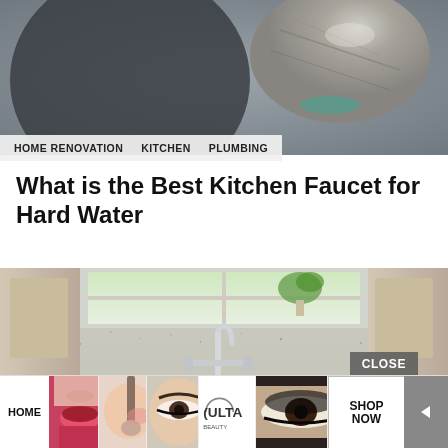[Figure (photo): Close-up of a stone or mineral texture against a dark background, partial view of a faucet or fixture.]
HOME RENOVATION   KITCHEN   PLUMBING
What is the Best Kitchen Faucet for Hard Water
[Figure (photo): A white farmhouse-style kitchen sink with a chrome bridge faucet, granite tile backsplash, cabinets, and a plant on the windowsill.]
CLOSE
HOME
[Figure (photo): Advertisement strip showing beauty/makeup images and ULTA beauty logo with SHOP NOW button.]